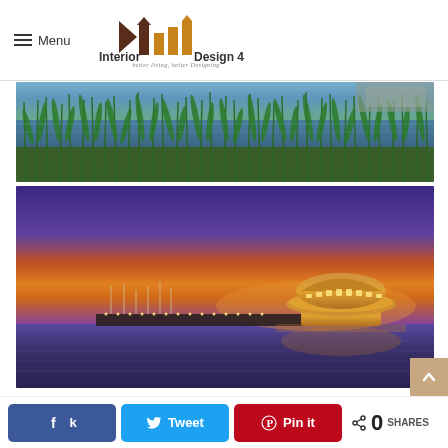[Figure (logo): Interior Design 4 logo with geometric arrow/bar shapes in brown and orange/gold colors, with tagline 'better living, better Designing']
[Figure (photo): Photograph of tall green reeds/grass growing near water with a calm lake reflecting blue sky in the background]
[Figure (photo): Photograph of an illuminated futuristic saucer-shaped building on a waterfront pier at sunset with orange and purple sky and water reflections]
[Figure (other): Social sharing bar with Facebook, Twitter, Pinterest buttons and 0 SHARES counter]